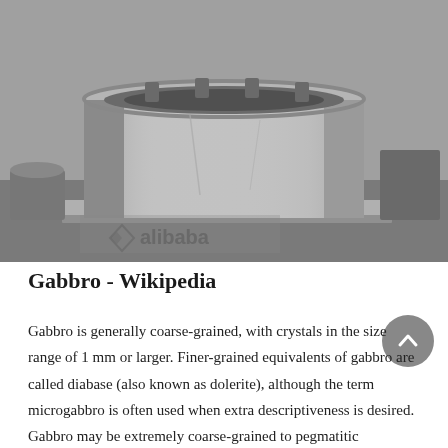[Figure (photo): Black and white photograph of a large industrial metal component — appears to be a heavy cylindrical steel housing or bowl mill part, sitting on a flat base plate with mounting brackets, in an industrial workshop setting. A watermark reading 'alibaba' and a diamond logo are visible at the bottom.]
Gabbro - Wikipedia
Gabbro is generally coarse-grained, with crystals in the size range of 1 mm or larger. Finer-grained equivalents of gabbro are called diabase (also known as dolerite), although the term microgabbro is often used when extra descriptiveness is desired. Gabbro may be extremely coarse-grained to pegmatitic